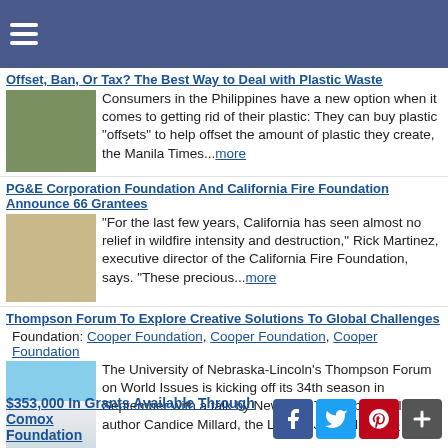☰ (navigation header)
Offset, Ban, Or Tax? The Best Way to Deal with Plastic Waste
Consumers in the Philippines have a new option when it comes to getting rid of their plastic: They can buy plastic "offsets" to help offset the amount of plastic they create, the Manila Times...more
PG&E Corporation Foundation And California Fire Foundation Announce 66 Grantees
"For the last few years, California has seen almost no relief in wildfire intensity and destruction," Rick Martinez, executive director of the California Fire Foundation, says. "These precious...more
Thompson Forum To Explore Creative Solutions To Global Challenges
Foundation: Cooper Foundation, Cooper Foundation, Cooper Foundation
The University of Nebraska-Lincoln's Thompson Forum on World Issues is kicking off its 34th season in September with a talk by New York Times best-selling author Candice Millard, the Lincoln Journal...more
$353,000 In Grants Available Through Comox Foundation